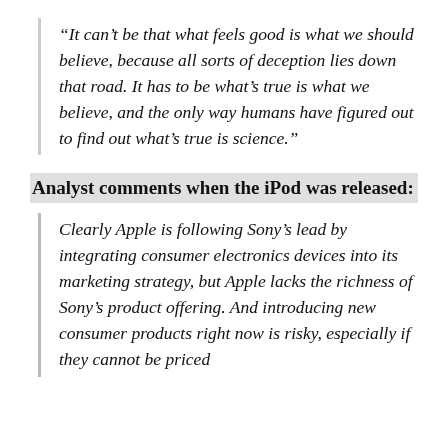“It can’t be that what feels good is what we should believe, because all sorts of deception lies down that road. It has to be what’s true is what we believe, and the only way humans have figured out to find out what’s true is science.”
Analyst comments when the iPod was released:
Clearly Apple is following Sony’s lead by integrating consumer electronics devices into its marketing strategy, but Apple lacks the richness of Sony’s product offering. And introducing new consumer products right now is risky, especially if they cannot be priced